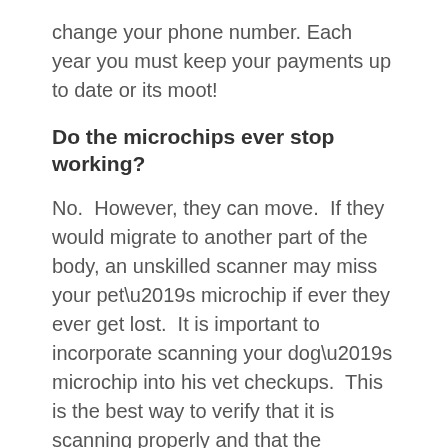change your phone number. Each year you must keep your payments up to date or its moot!
Do the microchips ever stop working?
No.  However, they can move.  If they would migrate to another part of the body, an unskilled scanner may miss your pet’s microchip if ever they ever get lost.  It is important to incorporate scanning your dog’s microchip into his vet checkups.  This is the best way to verify that it is scanning properly and that the microchip is located where it should be (on his back between his shoulder blades).